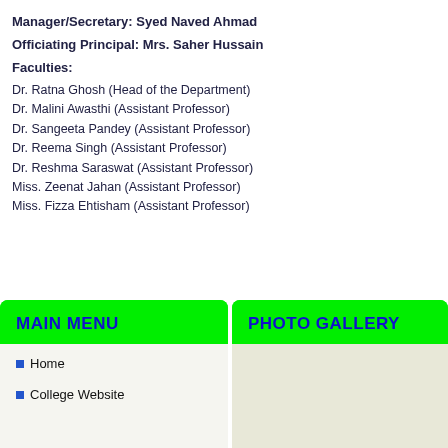Manager/Secretary: Syed Naved Ahmad
Officiating Principal: Mrs. Saher Hussain
Faculties:
Dr. Ratna Ghosh (Head of the Department)
Dr. Malini Awasthi (Assistant Professor)
Dr. Sangeeta Pandey (Assistant Professor)
Dr. Reema Singh (Assistant Professor)
Dr. Reshma Saraswat (Assistant Professor)
Miss. Zeenat Jahan (Assistant Professor)
Miss. Fizza Ehtisham (Assistant Professor)
MAIN MENU
Home
College Website
PHOTO GALLERY